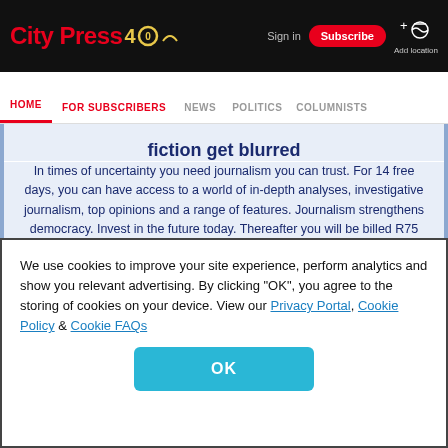City Press 40 | Sign in | Subscribe | Add location
HOME | FOR SUBSCRIBERS | NEWS | POLITICS | COLUMNISTS
fiction get blurred
In times of uncertainty you need journalism you can trust. For 14 free days, you can have access to a world of in-depth analyses, investigative journalism, top opinions and a range of features. Journalism strengthens democracy. Invest in the future today. Thereafter you will be billed R75 per month. You can cancel anytime and if you cancel within 14 days you won't be billed.
We use cookies to improve your site experience, perform analytics and show you relevant advertising. By clicking "OK", you agree to the storing of cookies on your device. View our Privacy Portal, Cookie Policy & Cookie FAQs
OK